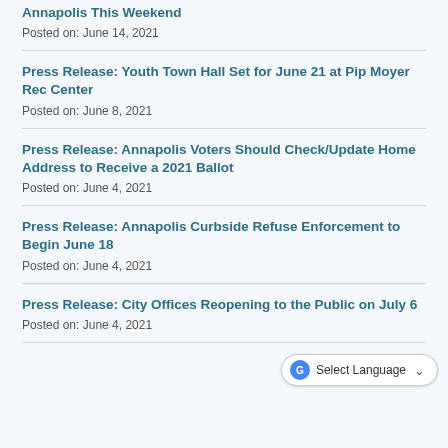Annapolis This Weekend
Posted on: June 14, 2021
Press Release: Youth Town Hall Set for June 21 at Pip Moyer Rec Center
Posted on: June 8, 2021
Press Release: Annapolis Voters Should Check/Update Home Address to Receive a 2021 Ballot
Posted on: June 4, 2021
Press Release: Annapolis Curbside Refuse Enforcement to Begin June 18
Posted on: June 4, 2021
Press Release: City Offices Reopening to the Public on July 6
Posted on: June 4, 2021